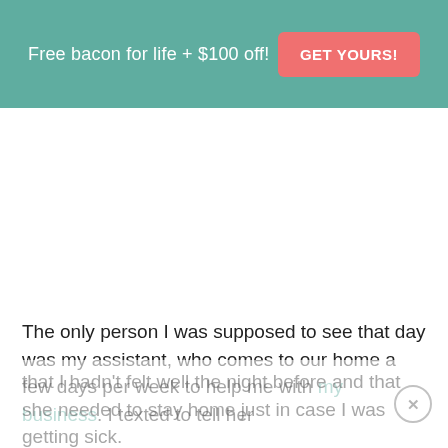Free bacon for life + $100 off!  GET YOURS!
The only person I was supposed to see that day was my assistant, who comes to our home a few days per week to help me with my business. I texted to tell her that I hadn't felt well the night before and that she needed to stay home just in case I was getting sick.